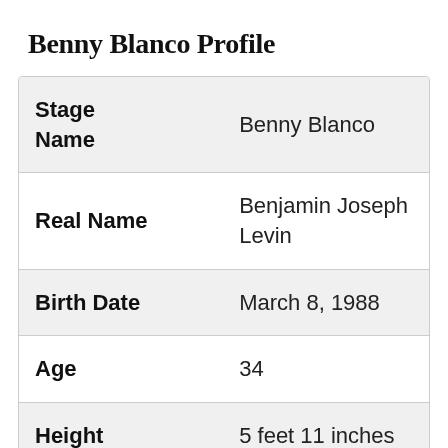Benny Blanco Profile
| Field | Value |
| --- | --- |
| Stage Name | Benny Blanco |
| Real Name | Benjamin Joseph Levin |
| Birth Date | March 8, 1988 |
| Age | 34 |
| Height | 5 feet 11 inches |
| Nationality | American |